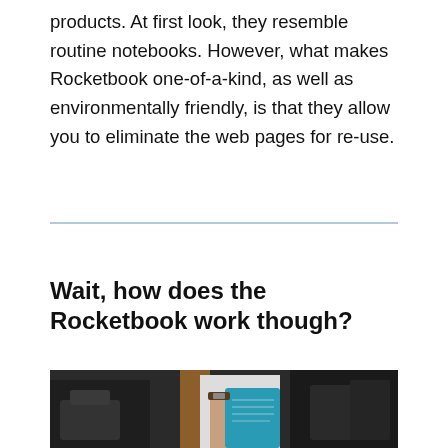products. At first look, they resemble routine notebooks. However, what makes Rocketbook one-of-a-kind, as well as environmentally friendly, is that they allow you to eliminate the web pages for re-use.
Wait, how does the Rocketbook work though?
[Figure (photo): Person holding a Rocketbook notebook with a turquoise cover, wearing a brown bag strap, blurred office background]